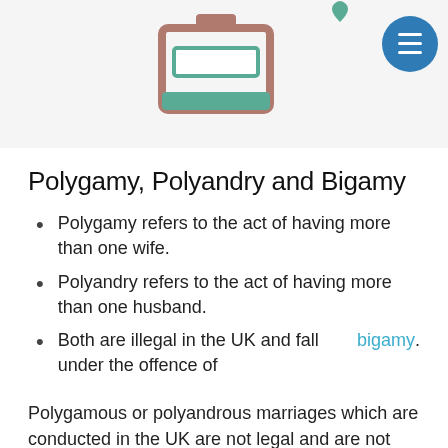[Figure (illustration): Partial view of a clipboard icon with a green and brown color scheme, a teal heart icon, and a circular blue menu button with three horizontal white lines (hamburger menu icon)]
Polygamy, Polyandry and Bigamy
Polygamy refers to the act of having more than one wife.
Polyandry refers to the act of having more than one husband.
Both are illegal in the UK and fall under the offence of bigamy.
Polygamous or polyandrous marriages which are conducted in the UK are not legal and are not